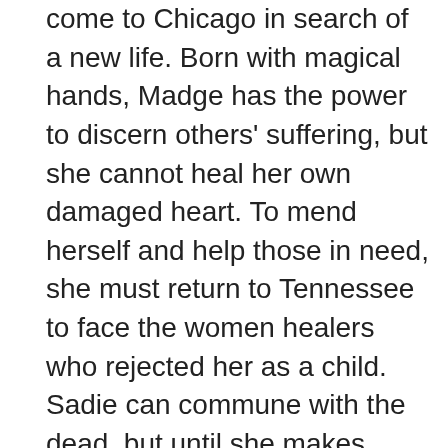come to Chicago in search of a new life. Born with magical hands, Madge has the power to discern others' suffering, but she cannot heal her own damaged heart. To mend herself and help those in need, she must return to Tennessee to face the women healers who rejected her as a child. Sadie can commune with the dead, but until she makes peace with her father, she, too, cannot fully engage her gift. Searching for his missing family, Hemp arrives in this northern city that shimmers with possibility. But redemption cannot be possible until he is reunited with those taken from him. In the bitter aftermath of a terrible, bloody war, as a divided nation tries to come together once again, Madge, Sadie, and Hemp will be caught up in a desperate, unexpected battle for survival in a community desperate to lay the pain of the past to